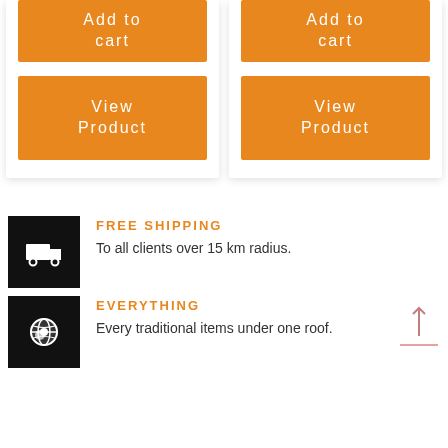[Figure (screenshot): Two product cards each with an orange 'Add to cart' button and an orange 'View Product' button]
FREE SHIPPING
To all clients over 15 km radius.
EVERYTHING
Every traditional items under one roof.